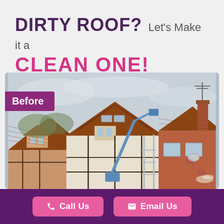DIRTY ROOF? Let's Make it a CLEAN ONE!
[Figure (photo): A house with a dirty tiled roof with a cherry picker / boom lift cleaning equipment positioned over it. White half-timbered house in center, red brick houses on sides. Overcast sky. 'Before' label badge in purple.]
Before
📞 Call Us
✉ Email Us